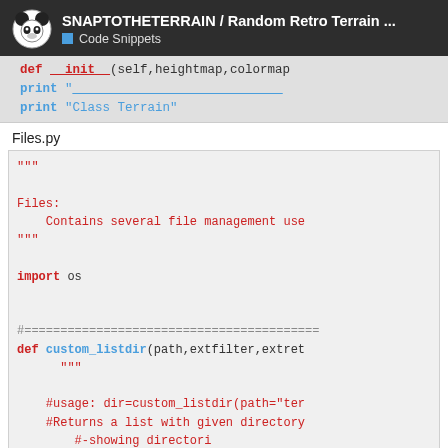SNAPTOTHETERRAIN / Random Retro Terrain ... Code Snippets
[Figure (screenshot): Code snippet showing Python class __init__ method with print statements]
Files.py
[Figure (screenshot): Python code block with docstring, import os, and custom_listdir function definition with comments]
1 / 17